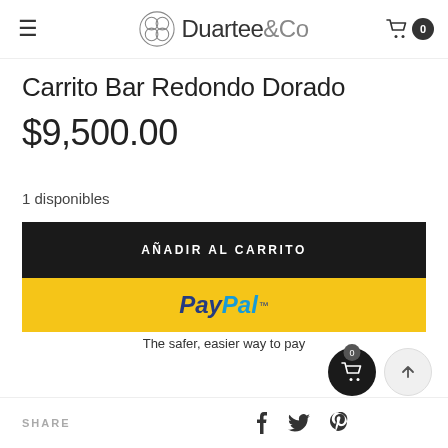Duartee&Co
Carrito Bar Redondo Dorado
$9,500.00
1 disponibles
AÑADIR AL CARRITO
[Figure (logo): PayPal button - yellow background with PayPal logo]
The safer, easier way to pay
SHARE